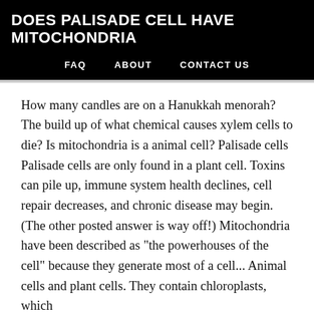DOES PALISADE CELL HAVE MITOCHONDRIA
FAQ   ABOUT   CONTACT US
How many candles are on a Hanukkah menorah? The build up of what chemical causes xylem cells to die? Is mitochondria is a animal cell? Palisade cells Palisade cells are only found in a plant cell. Toxins can pile up, immune system health declines, cell repair decreases, and chronic disease may begin. (The other posted answer is way off!) Mitochondria have been described as "the powerhouses of the cell" because they generate most of a cell... Animal cells and plant cells. They contain chloroplasts, which